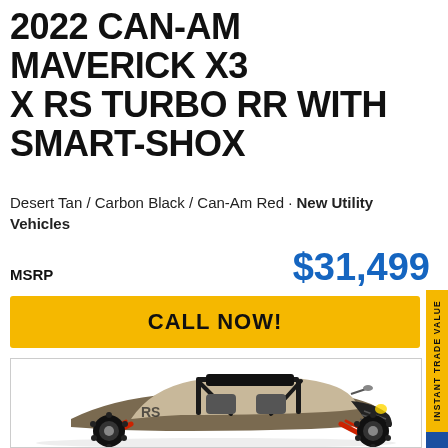2022 CAN-AM MAVERICK X3 X RS TURBO RR WITH SMART-SHOX
Desert Tan / Carbon Black / Can-Am Red · New Utility Vehicles
MSRP    $31,499
CALL NOW!
[Figure (photo): 2022 Can-Am Maverick X3 X RS Turbo RR with Smart-Shox side view, desert tan and carbon black with red accents, large off-road tires, roll cage visible]
INSTANT TRADE VALUE